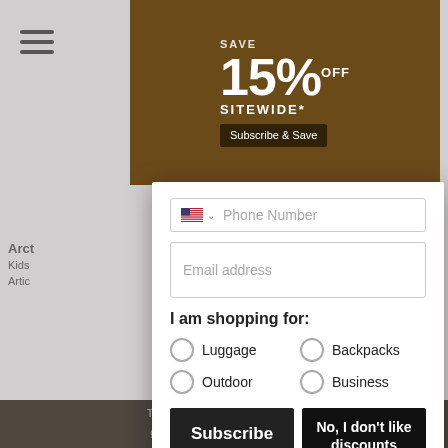[Figure (screenshot): Website screenshot showing a luggage retailer page with a subscription modal overlay. The modal contains a phone number field, email address field, shopping preference radio buttons (Luggage, Backpacks, Outdoor, Business), Subscribe button, and No I don't like discounts button. Background shows 15% off sitewide banner.]
Phone Number
Email address
I am shopping for:
Luggage
Backpacks
Outdoor
Business
Subscribe
No, I don't like discounts
*vendor exclusions apply.  valid on first order only. By clicking "subscribe", you agree to receive marketing text messages from Luggage Online at the number provided, including messages sent by autodialer. Consent is not a condition of any purchase. Message and data rates may apply. Message frequency varies. Reply HELP for help or STOP to cancel. View our Privacy Policy